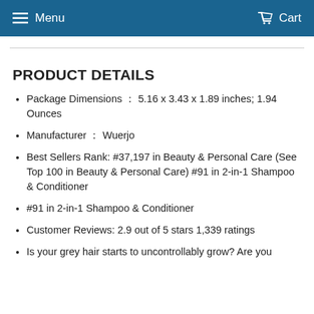Menu  Cart
PRODUCT DETAILS
Package Dimensions : 5.16 x 3.43 x 1.89 inches; 1.94 Ounces
Manufacturer : Wuerjo
Best Sellers Rank: #37,197 in Beauty & Personal Care (See Top 100 in Beauty & Personal Care) #91 in 2-in-1 Shampoo & Conditioner
#91 in 2-in-1 Shampoo & Conditioner
Customer Reviews: 2.9 out of 5 stars 1,339 ratings
Is your grey hair starts to uncontrollably grow? Are you